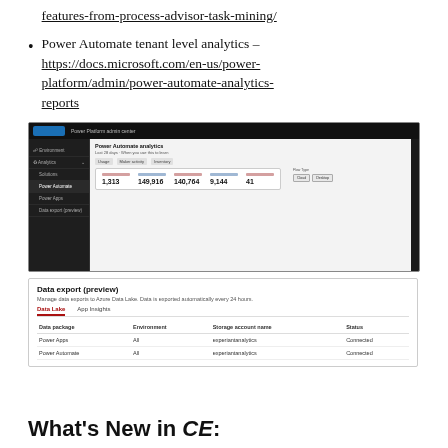features-from-process-advisor-task-mining/
Power Automate tenant level analytics – https://docs.microsoft.com/en-us/power-platform/admin/power-automate-analytics-reports
[Figure (screenshot): Screenshot of Power Platform admin center showing Power Automate analytics dashboard with metrics: Active Flows 1,313, Runs 149,916, Successful Runs 140,764, Failed Runs 9,144, Environments 41, and Flow Type buttons for Cloud and Desktop.]
[Figure (screenshot): Screenshot showing Data export (preview) section with tabs for Data Lake and App Insights, and a table listing Data package, Environment, Storage account name, Status columns with Power Apps (All, experiantanalytics, Connected) and Power Automate (All, experiantanalytics, Connected) rows.]
What's New in CE: